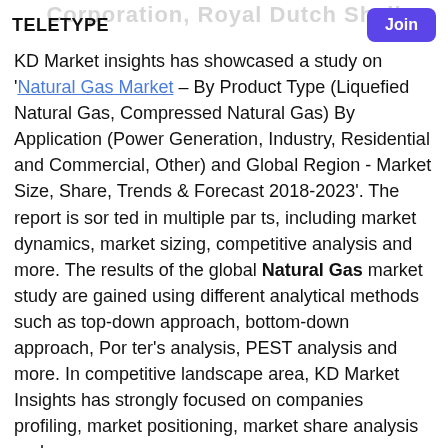Corporation, Royal Dutch Shell
teletype | Join
KD Market insights has showcased a study on 'Natural Gas Market – By Product Type (Liquefied Natural Gas, Compressed Natural Gas) By Application (Power Generation, Industry, Residential and Commercial, Other) and Global Region - Market Size, Share, Trends & Forecast 2018-2023'. The report is sorted in multiple parts, including market dynamics, market sizing, competitive analysis and more. The results of the global Natural Gas market study are gained using different analytical methods such as top-down approach, bottom-down approach, Porter's analysis, PEST analysis and more. In competitive landscape area, KD Market Insights has strongly focused on companies profiling, market positioning, market share analysis and more.